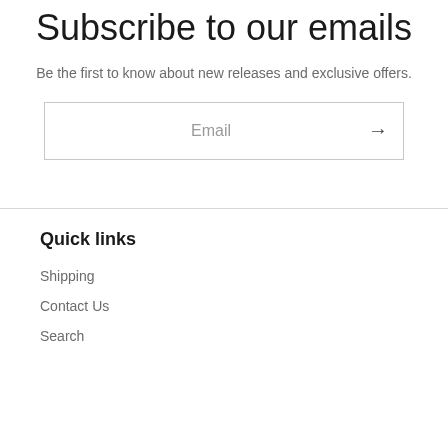Subscribe to our emails
Be the first to know about new releases and exclusive offers.
Email →
Quick links
Shipping
Contact Us
Search